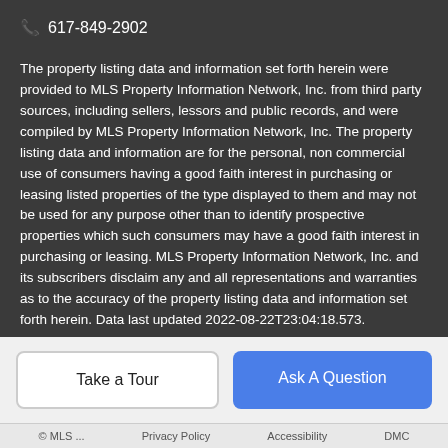617-849-2902
The property listing data and information set forth herein were provided to MLS Property Information Network, Inc. from third party sources, including sellers, lessors and public records, and were compiled by MLS Property Information Network, Inc. The property listing data and information are for the personal, non commercial use of consumers having a good faith interest in purchasing or leasing listed properties of the type displayed to them and may not be used for any purpose other than to identify prospective properties which such consumers may have a good faith interest in purchasing or leasing. MLS Property Information Network, Inc. and its subscribers disclaim any and all representations and warranties as to the accuracy of the property listing data and information set forth herein. Data last updated 2022-08-22T23:04:18.573.
Take a Tour
Ask A Question
© MLS Property Information Network, Inc. Accessibility